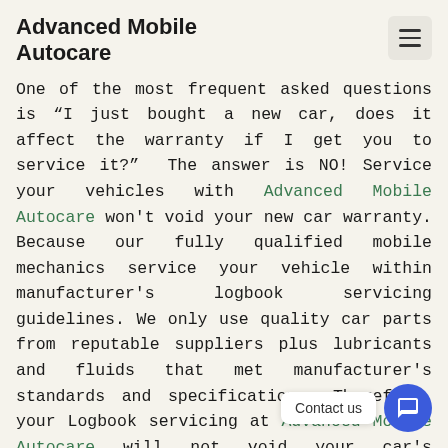Advanced Mobile Autocare
One of the most frequent asked questions is "I just bought a new car, does it affect the warranty if I get you to service it?" The answer is NO! Service your vehicles with Advanced Mobile Autocare won't void your new car warranty. Because our fully qualified mobile mechanics service your vehicle within manufacturer's logbook servicing guidelines. We only use quality car parts from reputable suppliers plus lubricants and fluids that met manufacturer's standards and specifications. Therefore, your Logbook servicing at Advanced Mobile Autocare will not void your car's guarantee under the ACCC's consumer protection guarantee.
Why choose the mobile mechanics from ADVANCED MOBILE AUTOCARE for logbook services